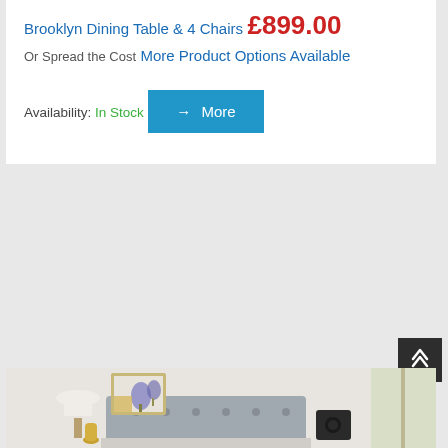Brooklyn Dining Table & 4 Chairs
£899.00
Or Spread the Cost
More Product Options Available
Availability: In Stock
→ More
[Figure (photo): Interior room scene showing a bedroom with grey upholstered headboard, lamp, decorative items, and framed floral artwork on wall]